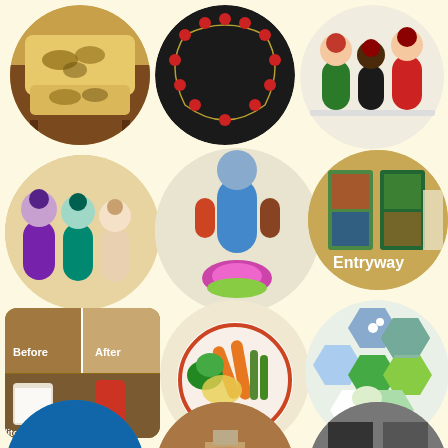[Figure (photo): Collage of circular and rectangular photos showing home decor, jewelry, figurines, food, and nature on a cream/yellow background. Top row: floral cushions on chair, red necklace on black background, colorful figurines on shelf. Middle row: painted wooden figurines, Hindu deity display with lotus flower, entryway with wall art panels. Third row: bathroom before/after organization, plate of vegetables, hexagonal nature photos with trees/flowers. Bottom partial row: three partially visible circular images.]
Entryway
Before
After
litches Bathroom Ti...